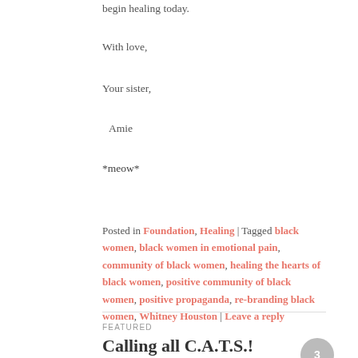begin healing today.
With love,
Your sister,
Amie
*meow*
Posted in Foundation, Healing | Tagged black women, black women in emotional pain, community of black women, healing the hearts of black women, positive community of black women, positive propaganda, re-branding black women, Whitney Houston | Leave a reply
FEATURED
Calling all C.A.T.S.!